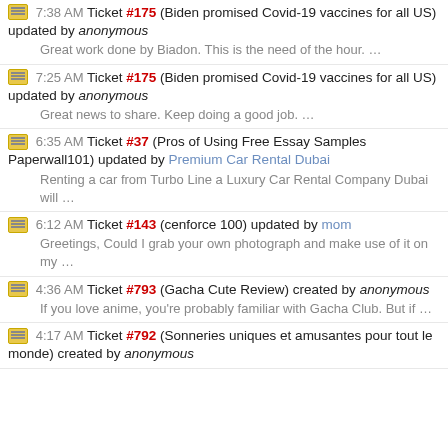7:38 AM Ticket #175 (Biden promised Covid-19 vaccines for all US) updated by anonymous
Great work done by Biadon. This is the need of the hour. …
7:25 AM Ticket #175 (Biden promised Covid-19 vaccines for all US) updated by anonymous
Great news to share. Keep doing a good job. …
6:35 AM Ticket #37 (Pros of Using Free Essay Samples Paperwall101) updated by Premium Car Rental Dubai
Renting a car from Turbo Line a Luxury Car Rental Company Dubai will …
6:12 AM Ticket #143 (cenforce 100) updated by mom
Greetings, Could I grab your own photograph and make use of it on my …
4:36 AM Ticket #793 (Gacha Cute Review) created by anonymous
If you love anime, you're probably familiar with Gacha Club. But if …
4:17 AM Ticket #792 (Sonneries uniques et amusantes pour tout le monde) created by anonymous